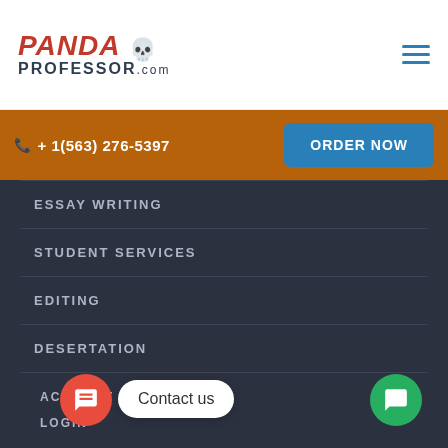[Figure (logo): PandaProfessor.com logo with skull icon on white header background]
+ 1(563) 276-5397
ORDER NOW
ESSAY WRITING
STUDENT SERVICES
EDITING
DESERTATION
ACCOUNT
LOGIN
Contact us